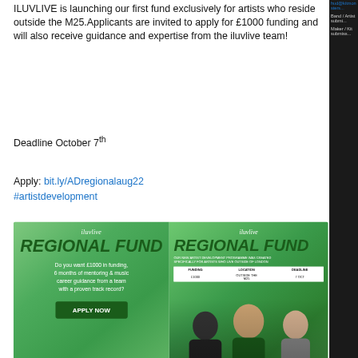ILUVLIVE is launching our first fund exclusively for artists who reside outside the M25.Applicants are invited to apply for £1000 funding and will also receive guidance and expertise from the iluvlive team!
Deadline October 7th
Apply: bit.ly/ADregionalaug22
#artistdevelopment
[Figure (illustration): Two promotional banner images for iluvlive Regional Fund. Left banner: green gradient background with iluvlive logo, 'REGIONAL FUND' heading, text about £1000 funding and mentoring, APPLY NOW button. Right banner: green gradient with iluvlive logo, 'REGIONAL FUND' heading, subtitle text, table with FUNDING/LOCATION/DEADLINE columns showing £1000/OUTSIDE THE M25/7 OCT, photos of three people, APPLY NOW button.]
7
KitMonsters uses cookies. By continuing to browse the site you are ag